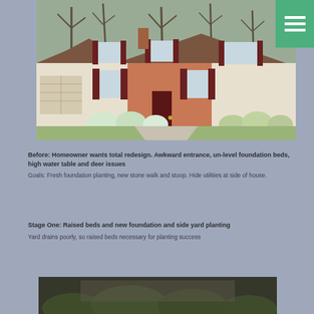[Figure (photo): Exterior photo of a two-story colonial-style house with beige/cream siding, dark red/maroon shutters, brick facade around the entrance, green lawn in front, and bare trees in the background. A garage is visible on the left side.]
Before: Homeowner wants total redesign. Awkward entrance, un-level foundation beds, high water table and deer issues
Goals: Fresh foundation planting, new stone walk and stoop. Hide utilities at side of house.
Stage One: Raised beds and new foundation and side yard planting
Yard drains poorly, so raised beds necessary for planting success
[Figure (photo): Partial photo of the house after landscaping work, showing greenery/bushes in front of the house, darker and blurred.]